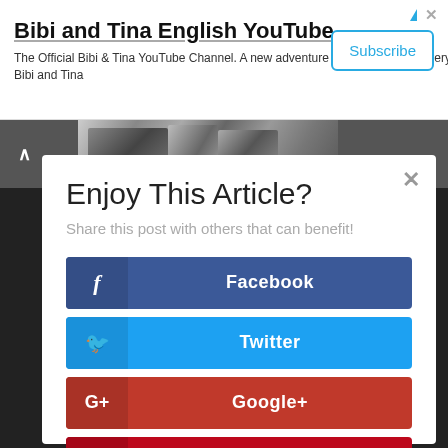[Figure (screenshot): Advertisement banner for Bibi and Tina English YouTube channel with Subscribe button]
Bibi and Tina English YouTube
The Official Bibi & Tina YouTube Channel. A new adventure will be uploaded every thursday! Bibi and Tina
[Figure (photo): Black and white photo thumbnail with a person's face visible]
Enjoy This Article?
Share this post with others that can benefit!
Facebook
Twitter
Google+
Pinterest